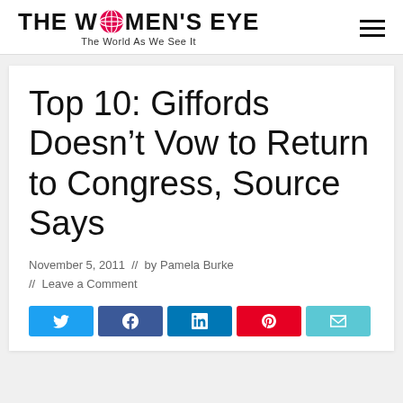THE WOMEN'S EYE — The World As We See It
Top 10: Giffords Doesn't Vow to Return to Congress, Source Says
November 5, 2011 // by Pamela Burke // Leave a Comment